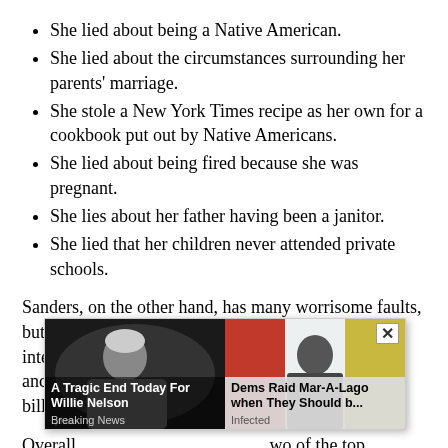She lied about being a Native American.
She lied about the circumstances surrounding her parents' marriage.
She stole a New York Times recipe as her own for a cookbook put out by Native Americans.
She lied about being fired because she was pregnant.
She lies about her father having been a janitor.
She lied that her children never attended private schools.
Sanders, on the other hand, has many worrisome faults, but to date, lying hasn't been one of them.  He's intellectually dishonest (e.g., when he gained money and fame, he shifted his attacks from millionaires to billionaires)...
Overall, ... two of the top D... it's reinforce... us and
[Figure (screenshot): Ad overlay with two panels: left panel shows 'A Tragic End Today For Willie Nelson - Breaking News' with a photo of an elderly man; right panel shows 'Dems Raid Mar-A-Lago when They Should b... - Infected' with a photo of a man in a suit, and a close button in the top right corner.]